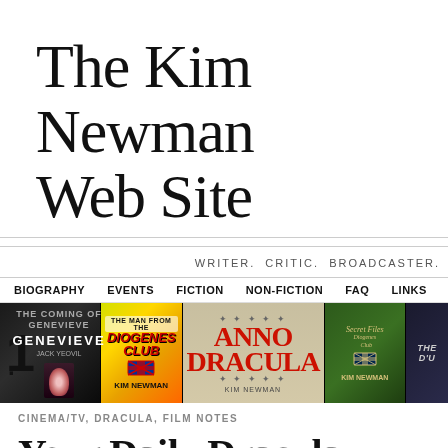The Kim Newman Web Site
WRITER. CRITIC. BROADCASTER.
BIOGRAPHY  EVENTS  FICTION  NON-FICTION  FAQ  LINKS  AWARDS
[Figure (illustration): Strip of book covers: Genevieve (dark gothic), The Man from the Diogenes Club (yellow/orange psychedelic), Anno Dracula (cream/red text), Secret Files of the Diogenes Club (dark green), and a partially visible dark cover.]
CINEMA/TV, DRACULA, FILM NOTES
Your Daily Dracula – Rona…
Marco, Kulay dugo ang ga…